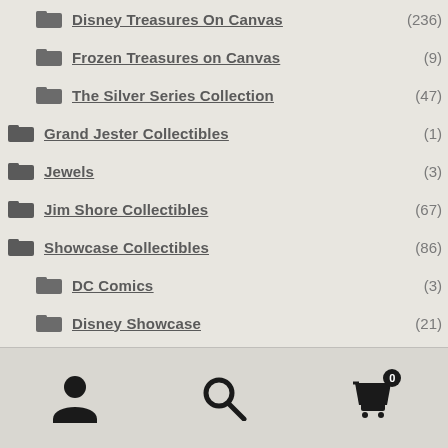Disney Treasures On Canvas (236)
Frozen Treasures on Canvas (9)
The Silver Series Collection (47)
Grand Jester Collectibles (1)
Jewels (3)
Jim Shore Collectibles (67)
Showcase Collectibles (86)
DC Comics (3)
Disney Showcase (21)
Miss Mindy (41)
Star Wars Fine Art (26)
[Figure (other): Bottom navigation bar with user account icon, search icon, and shopping cart icon with badge showing 0]